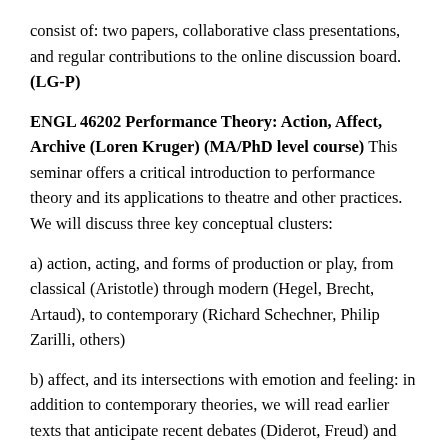consist of: two papers, collaborative class presentations, and regular contributions to the online discussion board. (LG-P)
ENGL 46202 Performance Theory: Action, Affect, Archive (Loren Kruger) (MA/PhD level course) This seminar offers a critical introduction to performance theory and its applications to theatre and other practices. We will discuss three key conceptual clusters:
a) action, acting, and forms of production or play, from classical (Aristotle) through modern (Hegel, Brecht, Artaud), to contemporary (Richard Schechner, Philip Zarilli, others)
b) affect, and its intersections with emotion and feeling: in addition to contemporary theories, we will read earlier texts that anticipate recent debates (Diderot, Freud) and their current interpreters (Joseph Roach, Erin Hurley, others), as well as writing about the absence of affect and the